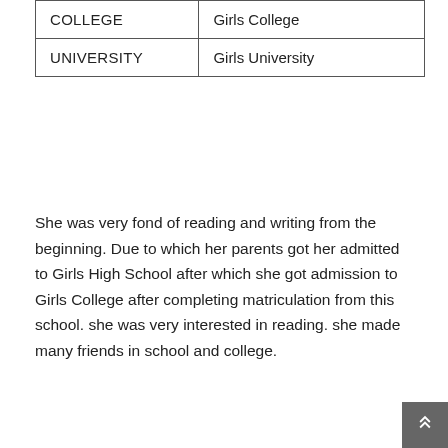| COLLEGE | Girls College |
| UNIVERSITY | Girls University |
She was very fond of reading and writing from the beginning. Due to which her parents got her admitted to Girls High School after which she got admission to Girls College after completing matriculation from this school. she was very interested in reading. she made many friends in school and college.